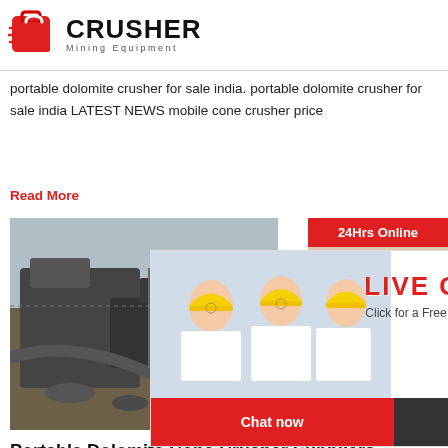[Figure (logo): Crusher Mining Equipment logo with red shopping bag icon and bold CRUSHER text]
portable dolomite crusher for sale india. portable dolomite crusher for sale india LATEST NEWS mobile cone crusher price
Read More
[Figure (photo): Mining crusher equipment photo on the left; Live Chat overlay popup with workers in hard hats, Chat now and Chat later buttons; 24Hrs Online banner with female customer service advisor on the right]
Portable Dolomite Cone Crusher Suppliers In Philippines
Portable Dolomite Cone Crusher Suppliers In Ph... Mineral Processing Equipment: portable dolomite cone crusher suppliers in philippines - A type of mining... that can trigger the development and change of beneficiation technology industry.The main core... are ball mills, rod mills, flotation machines, magnetic